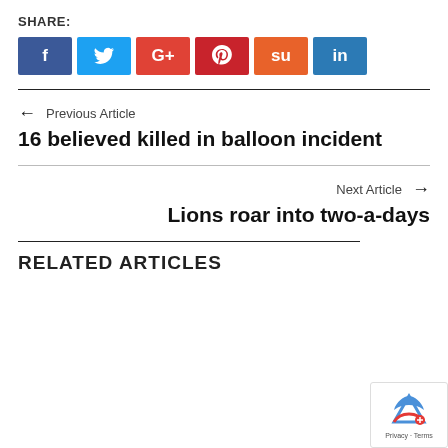SHARE:
[Figure (infographic): Social share buttons: Facebook (dark blue, f icon), Twitter (light blue, bird icon), Google+ (red, G+ icon), Pinterest (dark red, pin icon), StumbleUpon (orange, su icon), LinkedIn (teal-blue, in icon)]
← Previous Article
16 believed killed in balloon incident
Next Article →
Lions roar into two-a-days
RELATED ARTICLES